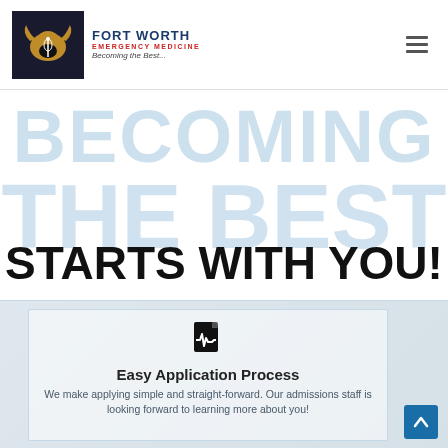Fort Worth Emergency Medicine — Becoming the Best...
BECOMING THE BEST STARTS WITH YOU!
[Figure (illustration): Medical/ECG document icon in black]
Easy Application Process
We make applying simple and straight-forward. Our admissions staff is looking forward to learning more about you!